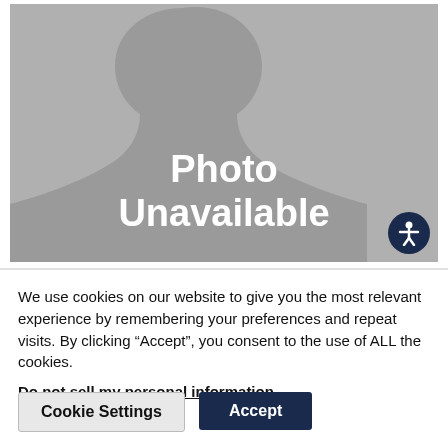[Figure (photo): Photo unavailable placeholder image showing a grey silhouette of a person with the text 'Photo Unavailable' overlaid in white, and an accessibility icon button in the bottom right corner.]
We use cookies on our website to give you the most relevant experience by remembering your preferences and repeat visits. By clicking “Accept”, you consent to the use of ALL the cookies.
Do not sell my personal information.
Cookie Settings
Accept